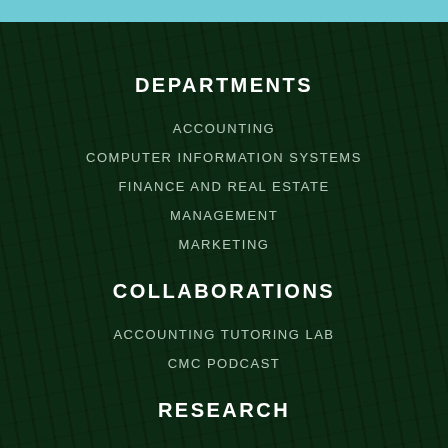DEPARTMENTS
ACCOUNTING
COMPUTER INFORMATION SYSTEMS
FINANCE AND REAL ESTATE
MANAGEMENT
MARKETING
COLLABORATIONS
ACCOUNTING TUTORING LAB
CMC PODCAST
RESEARCH